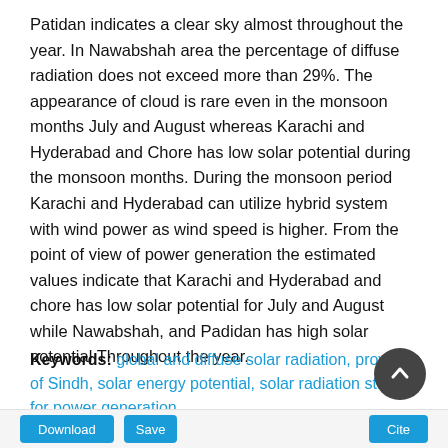Patidan indicates a clear sky almost throughout the year. In Nawabshah area the percentage of diffuse radiation does not exceed more than 29%. The appearance of cloud is rare even in the monsoon months July and August whereas Karachi and Hyderabad and Chore has low solar potential during the monsoon months. During the monsoon period Karachi and Hyderabad can utilize hybrid system with wind power as wind speed is higher. From the point of view of power generation the estimated values indicate that Karachi and Hyderabad and chore has low solar potential for July and August while Nawabshah, and Padidan has high solar potential Throughout the year.
Keywords: global and diffuse solar radiation, province of Sindh, solar energy potential, solar radiation studies for power generation